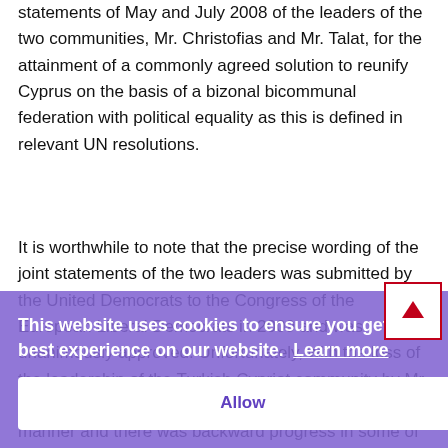statements of May and July 2008 of the leaders of the two communities, Mr. Christofias and Mr. Talat, for the attainment of a commonly agreed solution to reunify Cyprus on the basis of a bizonal bicommunal federation with political equality as this is defined in relevant UN resolutions.
It is worthwhile to note that the precise wording of the joint statements of the two leaders was submitted by the United Democrats to the Congress of the European Liberal Democrats in 2009 and was unanimously approved. Unfortunately, with the loss of the leadership of the Turkish Cypriot community by Mr. Talat, the talks ceased to proceed in a satisfactory manner and there was backward progress in some of the